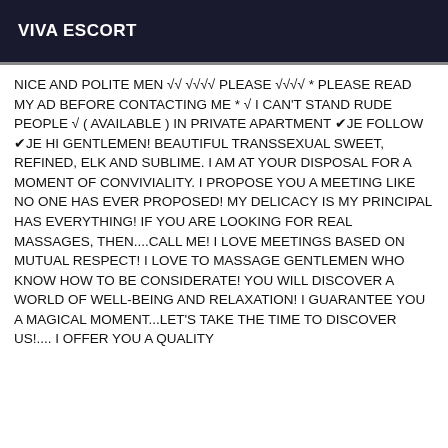VIVA ESCORT
NICE AND POLITE MEN √√ √√√√ PLEASE √√√√ * PLEASE READ MY AD BEFORE CONTACTING ME * √ I CAN'T STAND RUDE PEOPLE √ ( AVAILABLE ) IN PRIVATE APARTMENT ✔JE FOLLOW ✔JE HI GENTLEMEN! BEAUTIFUL TRANSSEXUAL SWEET, REFINED, ELK AND SUBLIME. I AM AT YOUR DISPOSAL FOR A MOMENT OF CONVIVIALITY. I PROPOSE YOU A MEETING LIKE NO ONE HAS EVER PROPOSED! MY DELICACY IS MY PRINCIPAL HAS EVERYTHING! IF YOU ARE LOOKING FOR REAL MASSAGES, THEN....CALL ME! I LOVE MEETINGS BASED ON MUTUAL RESPECT! I LOVE TO MASSAGE GENTLEMEN WHO KNOW HOW TO BE CONSIDERATE! YOU WILL DISCOVER A WORLD OF WELL-BEING AND RELAXATION! I GUARANTEE YOU A MAGICAL MOMENT...LET'S TAKE THE TIME TO DISCOVER US!.... I OFFER YOU A QUALITY